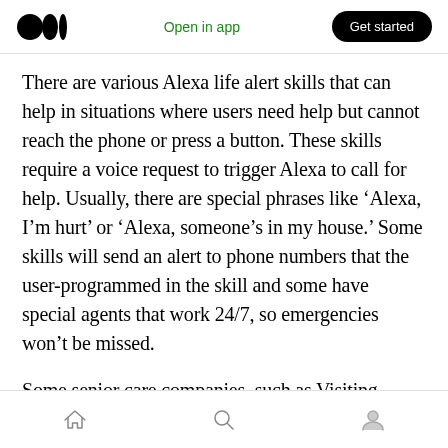Open in app | Get started
There are various Alexa life alert skills that can help in situations where users need help but cannot reach the phone or press a button. These skills require a voice request to trigger Alexa to call for help. Usually, there are special phrases like ‘Alexa, I’m hurt’ or ‘Alexa, someone’s in my house.’ Some skills will send an alert to phone numbers that the user-programmed in the skill and some have special agents that work 24/7, so emergencies won’t be missed.
Some senior care companies, such as Visiting
Home | Search | Profile